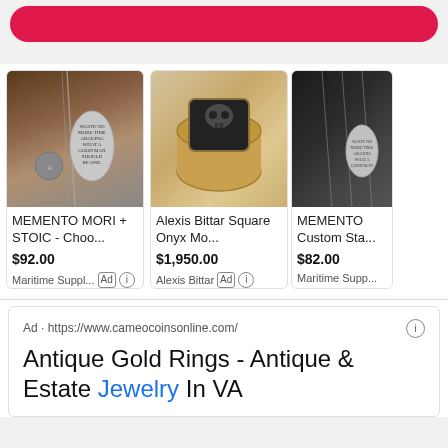[Figure (screenshot): Pink/red rounded button at top of page]
[Figure (photo): MEMENTO MORI + STOIC jewelry product photo showing silver chain pendants with skull and inscription]
MEMENTO MORI + STOIC - Choo...
$92.00
Maritime Suppl... Ad ℹ
[Figure (photo): Alexis Bittar Square Onyx Momento ring product photo showing gold ring with square black stone carved skull]
Alexis Bittar Square Onyx Mo...
$1,950.00
Alexis Bittar Ad ℹ
[Figure (photo): MEMENTO Custom Sta... product photo showing necklaces on dark background]
MEMENTO Custom Sta...
$82.00
Maritime Supp...
Ad · https://www.cameocoinsonline.com/
Antique Gold Rings - Antique & Estate Jewelry In VA